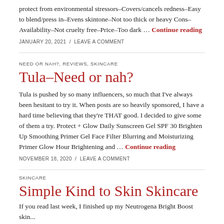protect from environmental stressors–Covers/cancels redness–Easy to blend/press in–Evens skintone–Not too thick or heavy Cons–Availability–Not cruelty free–Price–Too dark … Continue reading
JANUARY 20, 2021  /  LEAVE A COMMENT
NEED OR NAH?, REVIEWS, SKINCARE
Tula–Need or nah?
Tula is pushed by so many influencers, so much that I've always been hesitant to try it. When posts are so heavily sponsored, I have a hard time believing that they're THAT good. I decided to give some of them a try. Protect + Glow Daily Sunscreen Gel SPF 30 Brighten Up Smoothing Primer Gel Face Filter Blurring and Moisturizing Primer Glow Hour Brightening and … Continue reading
NOVEMBER 18, 2020  /  LEAVE A COMMENT
SKINCARE
Simple Kind to Skin Skincare
If you read last week, I finished up my Neutrogena Bright Boost skin...